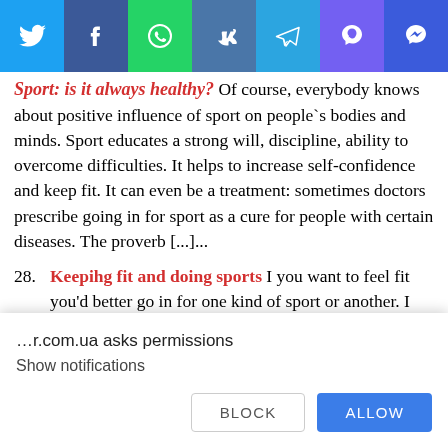[Figure (screenshot): Social media sharing bar with icons for Twitter, Facebook, WhatsApp, VK, Telegram, Viber, and Messenger]
Sport: is it always healthy? Of course, everybody knows about positive influence of sport on people`s bodies and minds. Sport educates a strong will, discipline, ability to overcome difficulties. It helps to increase self-confidence and keep fit. It can even be a treatment: sometimes doctors prescribe going in for sport as a cure for people with certain diseases. The proverb [...]...
28. Keepihg fit and doing sports I you want to feel fit you'd better go in for one kind of sport or another. I should admit that everyone must do all he can to
…r.com.ua asks permissions
Show notifications